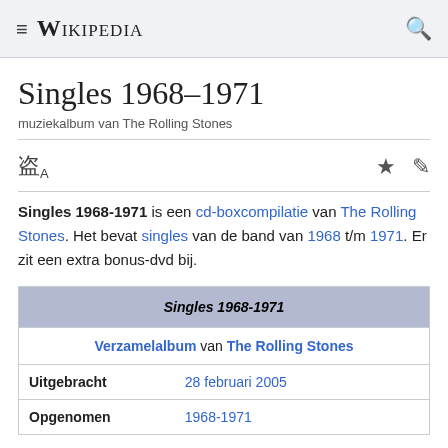≡ WIKIPEDIA 🔍
Singles 1968–1971
muziekalbum van The Rolling Stones
Singles 1968-1971 is een cd-boxcompilatie van The Rolling Stones. Het bevat singles van de band van 1968 t/m 1971. Er zit een extra bonus-dvd bij.
| Singles 1968-1971 |
| --- |
| Verzamelalbum van The Rolling Stones |
| Uitgebracht | 28 februari 2005 |
| Opgenomen | 1968-1971 |